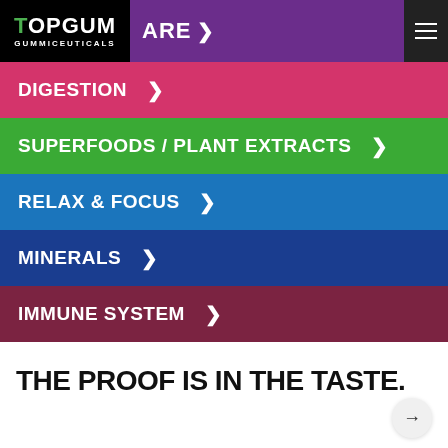[Figure (screenshot): TopGum Gummiceuticals website navigation screenshot showing logo, ARE link, and hamburger menu on purple bar]
DIGESTION >
SUPERFOODS / PLANT EXTRACTS >
RELAX & FOCUS >
MINERALS >
IMMUNE SYSTEM >
THE PROOF IS IN THE TASTE.